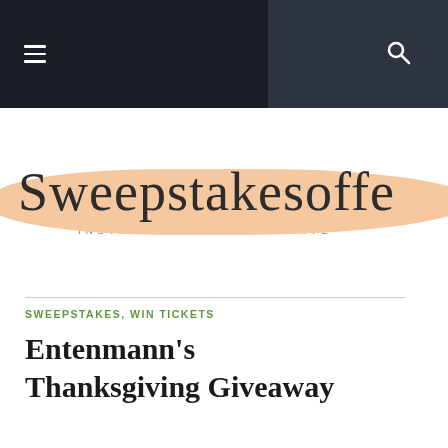Navigation bar with hamburger menu and search icon
[Figure (logo): Sweepstakesoffers logo with brush stroke background in peach/salmon color. Script text reads 'Sweepstakesoffe' (partially cropped). Tagline below: 'INSTANT WIN ONLINE CONTE' (partially cropped).]
SWEEPSTAKES , WIN TICKETS
Entenmann's Thanksgiving Giveaway